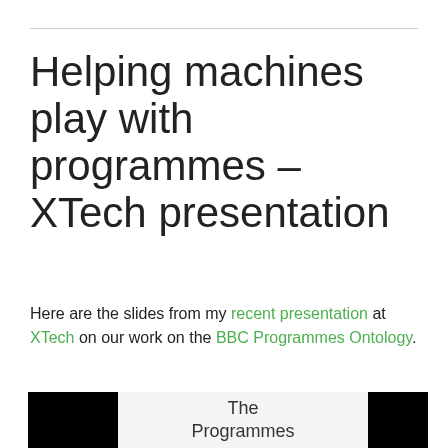Helping machines play with programmes – XTech presentation
Here are the slides from my recent presentation at XTech on our work on the BBC Programmes Ontology.
[Figure (screenshot): A slide preview showing a presentation slide with black panels on left and right, and center text reading 'The Programmes']